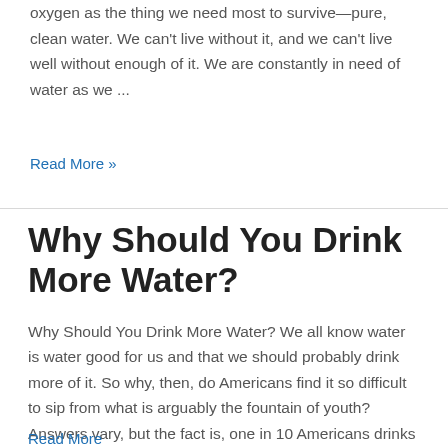oxygen as the thing we need most to survive—pure, clean water. We can't live without it, and we can't live well without enough of it. We are constantly in need of water as we ...
Read More »
Why Should You Drink More Water?
Why Should You Drink More Water? We all know water is water good for us and that we should probably drink more of it. So why, then, do Americans find it so difficult to sip from what is arguably the fountain of youth?Answers vary, but the fact is, one in 10 Americans drinks zero cups ...
Read More